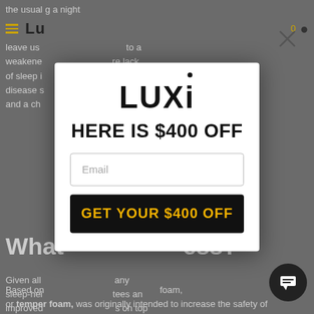the usual... spending a night ...ent t... ...0 an ... leave us... ...to a weakened... ...re lack of sleep i... ...ering disease s... ...ssure, and a ch...
Given all... ...any sleep-hel... ...tees an improved... ...s on top of people... ...But what rea... ...it work to improv...
[Figure (screenshot): Modal popup with Luxi logo, headline 'HERE IS $400 OFF', email input field, and black button with gold text 'GET YOUR $400 OFF'. Close X button in top right.]
What... ...ess?
Based on... ...foam, or temper foam, was originally intended to increase the safety of